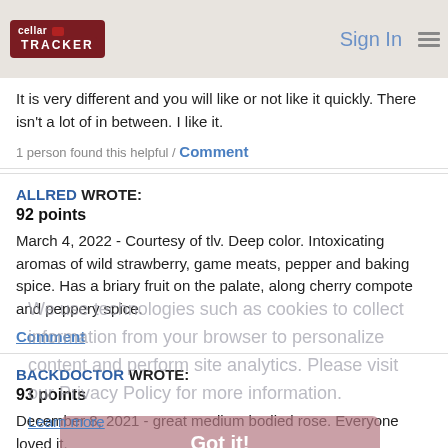CellarTracker | Sign In
It is very different and you will like or not like it quickly. There isn't a lot of in between. I like it.
1 person found this helpful / Comment
ALLRED WROTE:
92 points
March 4, 2022 - Courtesy of tlv. Deep color. Intoxicating aromas of wild strawberry, game meats, pepper and baking spice. Has a briary fruit on the palate, along cherry compote and peppery spice.
Comment
BACKDOCTOR WROTE:
93 points
December 8, 2021 - great medium bodied rose. Everyone loved it.
Comment
RPERRO LIKES THIS WINE:
90 points
August 7, 2021 - My second bottle of this full throttle rose was much better
[Figure (screenshot): Cookie consent overlay with text about cookies and privacy policy, and a 'Got it!' button]